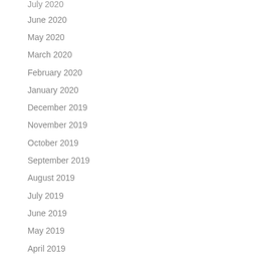July 2020
June 2020
May 2020
March 2020
February 2020
January 2020
December 2019
November 2019
October 2019
September 2019
August 2019
July 2019
June 2019
May 2019
April 2019